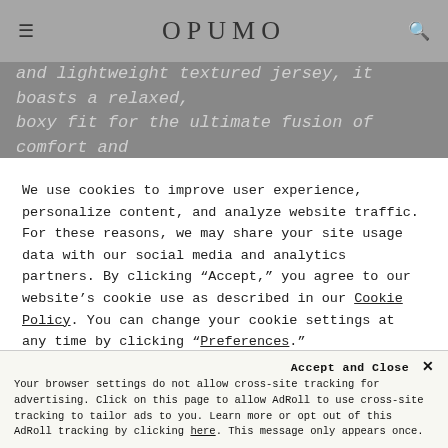OPUMO
and lightweight textured jersey, it boasts a relaxed, boxy fit for the ultimate fusion of comfort and
We use cookies to improve user experience, personalize content, and analyze website traffic. For these reasons, we may share your site usage data with our social media and analytics partners. By clicking “Accept,” you agree to our website’s cookie use as described in our Cookie Policy. You can change your cookie settings at any time by clicking “Preferences.”
Accept
Preferences
Accept and Close ×
Your browser settings do not allow cross-site tracking for advertising. Click on this page to allow AdRoll to use cross-site tracking to tailor ads to you. Learn more or opt out of this AdRoll tracking by clicking here. This message only appears once.